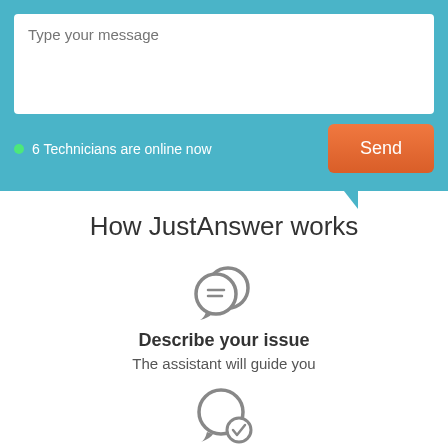[Figure (screenshot): Chat input panel with teal background, white message text area with placeholder 'Type your message', green dot with '6 Technicians are online now', and orange Send button]
How JustAnswer works
[Figure (illustration): Two overlapping speech bubble chat icons in gray]
Describe your issue
The assistant will guide you
[Figure (illustration): Speech bubble with a checkmark inside, gray icon]
Chat 1:1 with a network technician
Licensed Experts are available 24/7